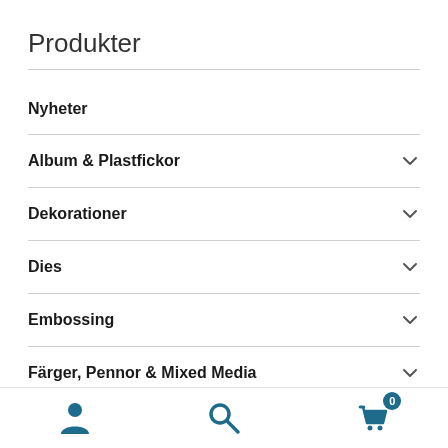Produkter
Nyheter
Album & Plastfickor
Dekorationer
Dies
Embossing
Färger, Pennor & Mixed Media